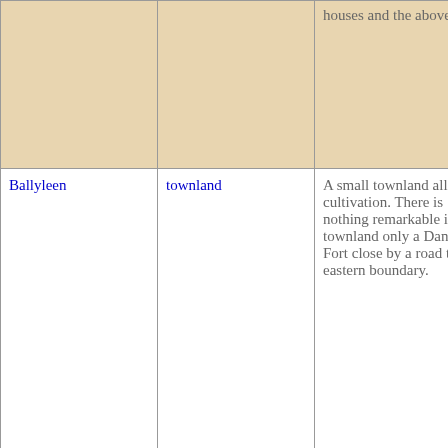| Name | Type | Description |
| --- | --- | --- |
|  |  | houses and the above road. |
| Ballyleen | townland | A small townland all under cultivation. There is nothing remarkable in this townland only a Danish Fort close by a road the eastern boundary. |
| Barnacullia | part of a townland | A portion of the townland so called, it does not consist of any matter worthy of remark. It appears |